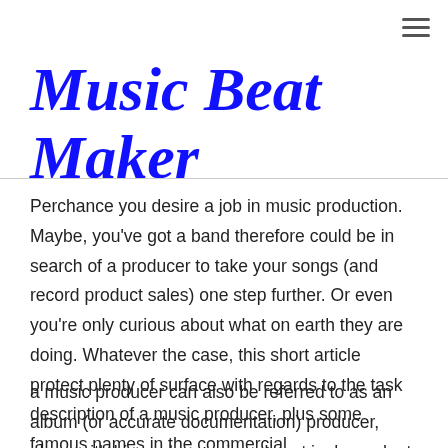[Figure (other): Hamburger menu icon (three horizontal lines) in top right corner]
Music Beat Maker
Perchance you desire a job in music production. Maybe, you've got a band therefore could be in search of a producer to take your songs (and record product sales) one step further. Or even you're only curious about what on earth they are doing. Whatever the case, this short article protect plenty of surface with regards to the task description of a music producer, plus some famous names in the commercial.
a music producer can also be referred to as an album (or accurate documentation) producer, along with his work meaning almost is dependent on the terms he agrees with